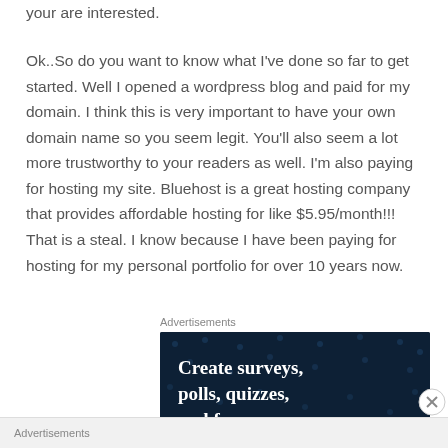your are interested.
Ok..So do you want to know what I've done so far to get started. Well I opened a wordpress blog and paid for my domain. I think this is very important to have your own domain name so you seem legit. You'll also seem a lot more trustworthy to your readers as well. I'm also paying for hosting my site. Bluehost is a great hosting company that provides affordable hosting for like $5.95/month!!! That is a steal. I know because I have been paying for hosting for my personal portfolio for over 10 years now.
Advertisements
[Figure (other): Advertisement banner with dark blue background and white text reading 'Create surveys, polls, quizzes, and forms']
Advertisements